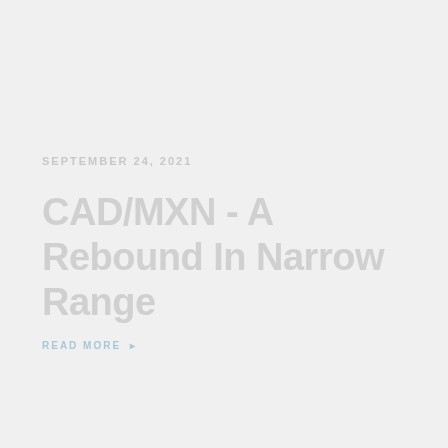SEPTEMBER 24, 2021
CAD/MXN - A Rebound In Narrow Range
READ MORE >